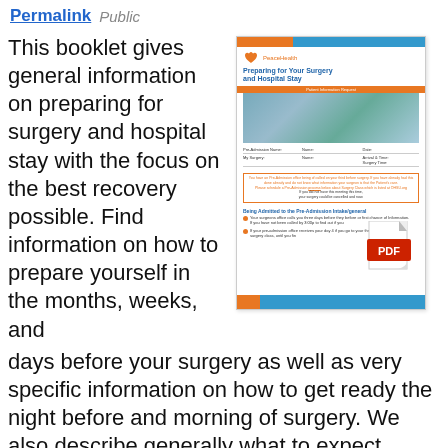Permalink  Public
This booklet gives general information on preparing for surgery and hospital stay with the focus on the best recovery possible. Find information on how to prepare yourself in the months, weeks, and days before your surgery as well as very specific information on how to get ready the night before and morning of surgery. We also describe generally what to expect before and after surgery. Use this booklet along with the information we
[Figure (other): Thumbnail preview of a PDF document titled 'Preparing for Your Surgery and Hospital Stay' from PeaceHealth, showing a hospital building photo, patient information fields, and bulleted content with a PDF icon overlay.]